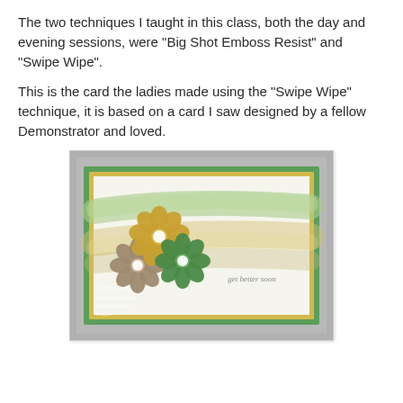The two techniques I taught in this class, both the day and evening sessions, were "Big Shot Emboss Resist" and "Swipe Wipe".
This is the card the ladies made using the "Swipe Wipe" technique, it is based on a card I saw designed by a fellow Demonstrator and loved.
[Figure (photo): A handmade greeting card featuring three layered paper flowers (yellow, green, and taupe/brown) with pearl centers, set against a white card base with a green border and yellow inner border. The background has a multi-color swipe wipe technique showing streaks of green and yellow/tan. Text reads 'get better soon' in the lower right. Watermark text for Yvonne Pree and website URLs in lower left corner.]